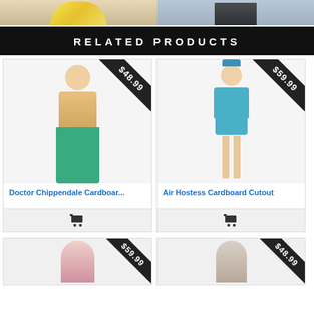[Figure (photo): Two product images at top of page — left shows a yellow floral costume, right shows a figure in dark outfit]
RELATED PRODUCTS
[Figure (photo): Doctor Chippendale cardboard cutout — muscular man shirtless in green scrubs, price $48.99]
Doctor Chippendale Cardboar...
[Figure (photo): Air Hostess Cardboard Cutout — woman in blue stewardess outfit saluting, price $59.99]
Air Hostess Cardboard Cutout
[Figure (photo): Bottom left product with price $59.99 ribbon]
[Figure (photo): Bottom right product with price $48.99 ribbon]